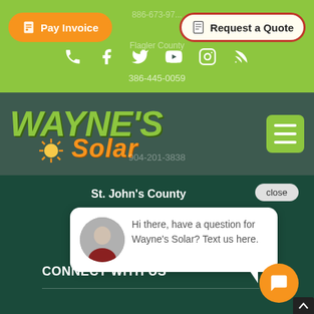[Figure (screenshot): Wayne's Solar website screenshot showing Pay Invoice button, Request a Quote button, social media icons, Wayne's Solar logo with sun graphic, hamburger menu, chat widget with St. John's County label and message 'Hi there, have a question for Wayne's Solar? Text us here.', and CONNECT WITH US text]
Pay Invoice
Request a Quote
386-445-0059
WAYNE'S Solar
904-201-3838
St. John's County
close
Hi there, have a question for Wayne's Solar? Text us here.
CONNECT WITH US